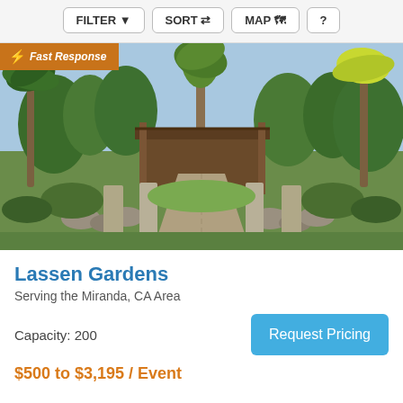FILTER  SORT  MAP  ?
[Figure (photo): Outdoor garden venue with palm trees, lush greenery, stone pathway leading to a wooden structure, with rocks lining the path. Badge overlay reads 'Fast Response'.]
Lassen Gardens
Serving the Miranda, CA Area
Capacity: 200
Request Pricing
$500 to $3,195 / Event